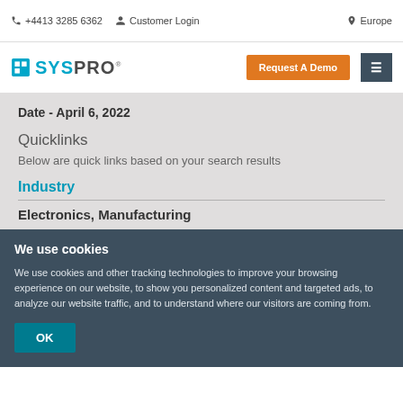+4413 3285 6362   Customer Login   Europe
[Figure (logo): SYSPRO logo with teal square icon, orange Request A Demo button, dark hamburger menu button]
Date - April 6, 2022
Quicklinks
Below are quick links based on your search results
Industry
Electronics, Manufacturing
We use cookies
We use cookies and other tracking technologies to improve your browsing experience on our website, to show you personalized content and targeted ads, to analyze our website traffic, and to understand where our visitors are coming from.
OK